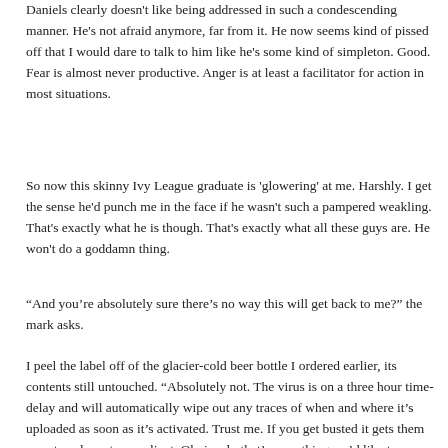Daniels clearly doesn't like being addressed in such a condescending manner. He's not afraid anymore, far from it. He now seems kind of pissed off that I would dare to talk to him like he's some kind of simpleton. Good. Fear is almost never productive. Anger is at least a facilitator for action in most situations.
So now this skinny Ivy League graduate is 'glowering' at me. Harshly. I get the sense he'd punch me in the face if he wasn't such a pampered weakling. That's exactly what he is though. That's exactly what all these guys are. He won't do a goddamn thing.
“And you’re absolutely sure there’s no way this will get back to me?” the mark asks.
I peel the label off of the glacier-cold beer bottle I ordered earlier, its contents still untouched. “Absolutely not. The virus is on a three hour time-delay and will automatically wipe out any traces of when and where it’s uploaded as soon as it’s activated. Trust me. If you get busted it gets them one step closer to my client. Obviously that’s something we’d like to